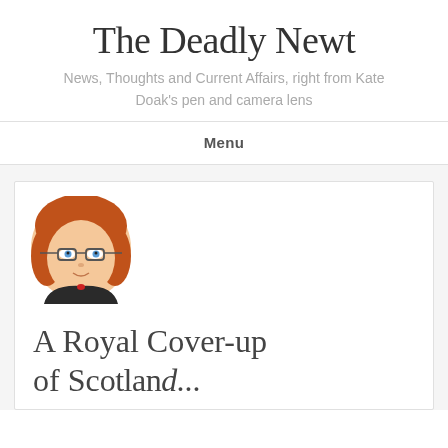The Deadly Newt
News, Thoughts and Current Affairs, right from Kate Doak's pen and camera lens
Menu
[Figure (illustration): Cartoon avatar of a woman with red/auburn hair, glasses, and a dark jacket]
A Royal Cover-up of Scotland...